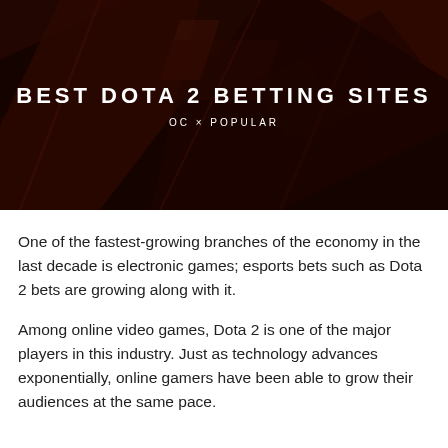[Figure (illustration): Dark hero banner with a large stylized black/dark-red angular graphic (Dota 2 themed) in the background. Contains bold white title text 'BEST DOTA 2 BETTING SITES' and subtitle 'OC × POPULAR'.]
BEST DOTA 2 BETTING SITES
OC × POPULAR
One of the fastest-growing branches of the economy in the last decade is electronic games; esports bets such as Dota 2 bets are growing along with it.
Among online video games, Dota 2 is one of the major players in this industry. Just as technology advances exponentially, online gamers have been able to grow their audiences at the same pace.